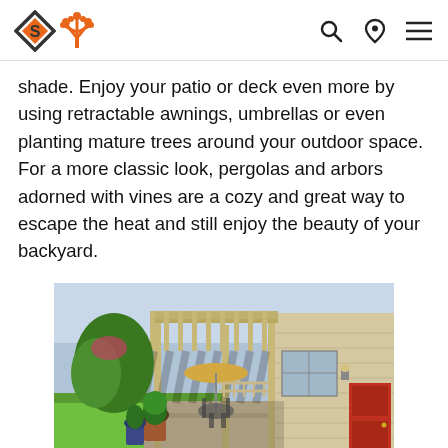[Logo: S + tree icon] [Search icon] [Location pin icon] [Menu icon]
shade. Enjoy your patio or deck even more by using retractable awnings, umbrellas or even planting mature trees around your outdoor space. For a more classic look, pergolas and arbors adorned with vines are a cozy and great way to escape the heat and still enjoy the beauty of your backyard.
[Figure (photo): Outdoor patio area with a wooden pergola attached to the side of a house, featuring a red door, potted plants, patio furniture with umbrella, and lush green lawn in the background.]